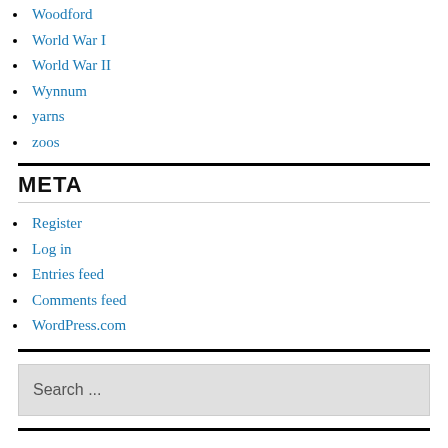Woodford
World War I
World War II
Wynnum
yarns
zoos
META
Register
Log in
Entries feed
Comments feed
WordPress.com
Search ...
RECENT POSTS
The Day We Went to Something (Part 4)